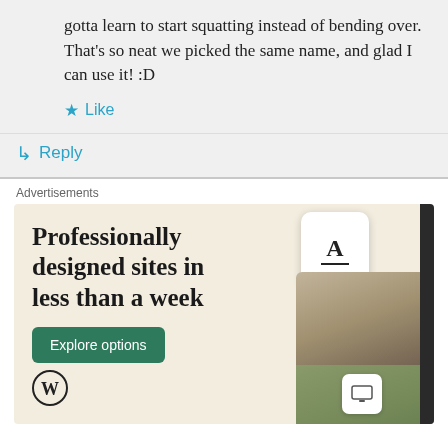gotta learn to start squatting instead of bending over. That's so neat we picked the same name, and glad I can use it! :D
★ Like
↳ Reply
Advertisements
[Figure (illustration): WordPress advertisement: 'Professionally designed sites in less than a week' with an 'Explore options' green button, WordPress logo, and phone/tablet mockup images showing website designs on a beige background.]